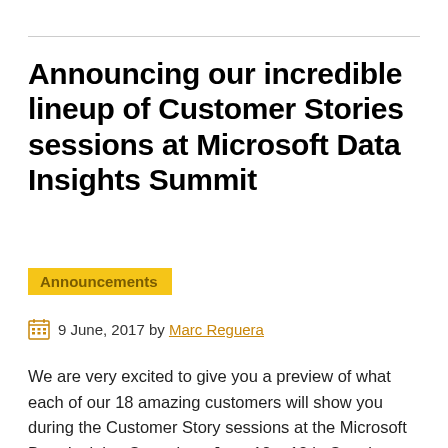Announcing our incredible lineup of Customer Stories sessions at Microsoft Data Insights Summit
Announcements
9 June, 2017 by Marc Reguera
We are very excited to give you a preview of what each of our 18 amazing customers will show you during the Customer Story sessions at the Microsoft Data Insights Summit on June 12 – 13 in Seattle. After much preparation, we've boiled down each presentation to 25 minutes with 5-